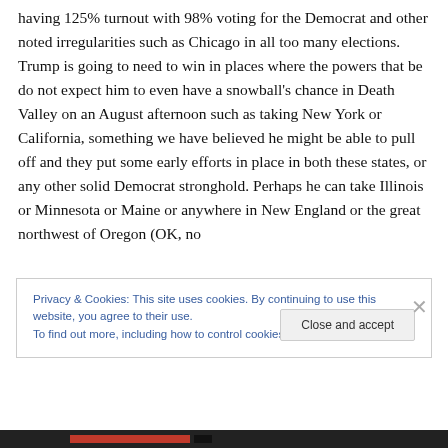having 125% turnout with 98% voting for the Democrat and other noted irregularities such as Chicago in all too many elections. Trump is going to need to win in places where the powers that be do not expect him to even have a snowball's chance in Death Valley on an August afternoon such as taking New York or California, something we have believed he might be able to pull off and they put some early efforts in place in both these states, or any other solid Democrat stronghold. Perhaps he can take Illinois or Minnesota or Maine or anywhere in New England or the great northwest of Oregon (OK, no
Privacy & Cookies: This site uses cookies. By continuing to use this website, you agree to their use.
To find out more, including how to control cookies, see here: Cookie Policy
Close and accept